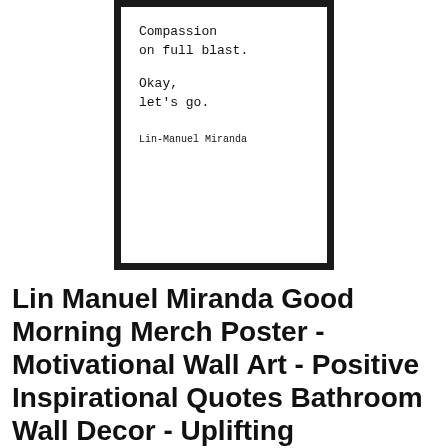[Figure (illustration): A framed art poster with a black border on white background showing a motivational quote in typewriter font: 'Compassion on full blast. Okay, let's go.' attributed to Lin-Manuel Miranda]
Lin Manuel Miranda Good Morning Merch Poster - Motivational Wall Art - Positive Inspirational Quotes Bathroom Wall Decor - Uplifting Encouragement Gift f